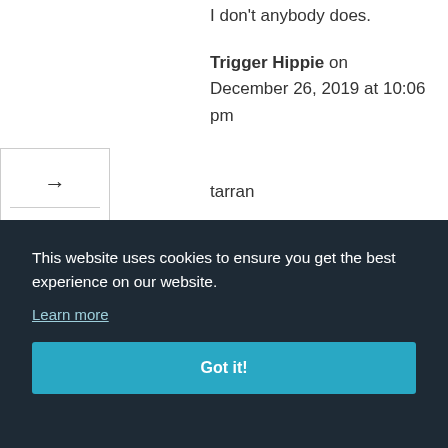I don't anybody does.
Trigger Hippie on December 26, 2019 at 10:06 pm
tarran
Spudalicious on December
ng all
eer on 8:21
them
This website uses cookies to ensure you get the best experience on our website.
Learn more
Got it!